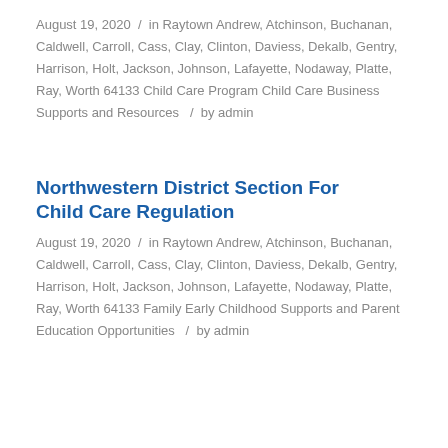Child Care Regulation
August 19, 2020 / in Raytown Andrew, Atchinson, Buchanan, Caldwell, Carroll, Cass, Clay, Clinton, Daviess, Dekalb, Gentry, Harrison, Holt, Jackson, Johnson, Lafayette, Nodaway, Platte, Ray, Worth 64133 Child Care Program Child Care Business Supports and Resources / by admin
Northwestern District Section For Child Care Regulation
August 19, 2020 / in Raytown Andrew, Atchinson, Buchanan, Caldwell, Carroll, Cass, Clay, Clinton, Daviess, Dekalb, Gentry, Harrison, Holt, Jackson, Johnson, Lafayette, Nodaway, Platte, Ray, Worth 64133 Family Early Childhood Supports and Parent Education Opportunities / by admin